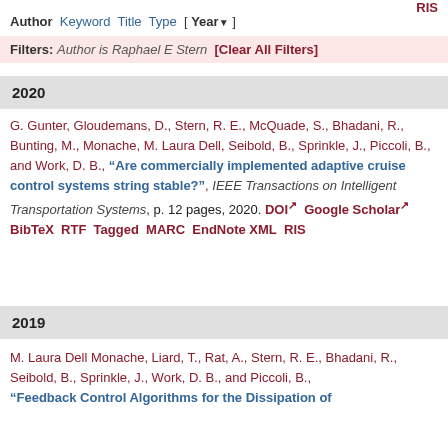RIS
Author Keyword Title Type [ Year ]
Filters: Author is Raphael E Stern [Clear All Filters]
2020
G. Gunter, Gloudemans, D., Stern, R. E., McQuade, S., Bhadani, R., Bunting, M., Monache, M. Laura Dell, Seibold, B., Sprinkle, J., Piccoli, B., and Work, D. B., "Are commercially implemented adaptive cruise control systems string stable?", IEEE Transactions on Intelligent Transportation Systems, p. 12 pages, 2020. DOI Google Scholar BibTeX RTF Tagged MARC EndNote XML RIS
2019
M. Laura Dell Monache, Liard, T., Rat, A., Stern, R. E., Bhadani, R., Seibold, B., Sprinkle, J., Work, D. B., and Piccoli, B., "Feedback Control Algorithms for the Dissipation of